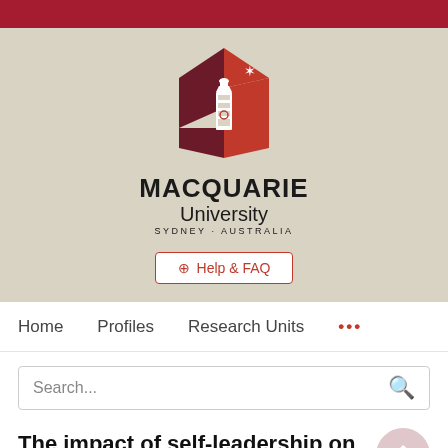[Figure (logo): Macquarie University logo with lighthouse and geometric red/dark red hexagon shapes, with text MACQUARIE University SYDNEY·AUSTRALIA]
⊕ Help & FAQ
Home   Profiles   Research Units   •••
Search...
The impact of self-leadership on work outcomes in a Chinese